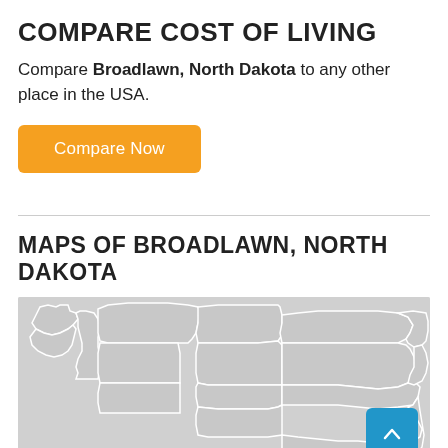COMPARE COST OF LIVING
Compare Broadlawn, North Dakota to any other place in the USA.
Compare Now
MAPS OF BROADLAWN, NORTH DAKOTA
[Figure (map): Map showing US states in the northern/western region including North Dakota and surrounding states, rendered in gray with white state borders.]